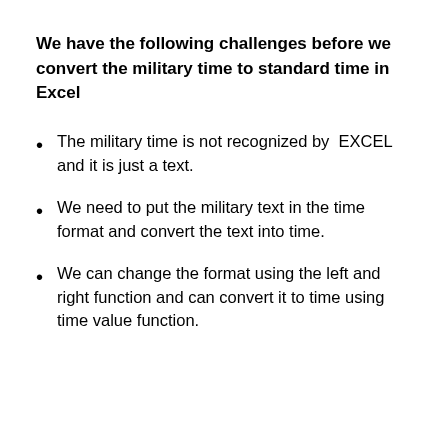We have the following challenges before we convert the military time to standard time in Excel
The military time is not recognized by EXCEL and it is just a text.
We need to put the military text in the time format and convert the text into time.
We can change the format using the left and right function and can convert it to time using time value function.